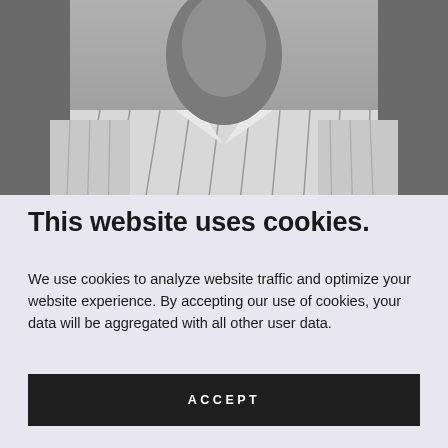[Figure (photo): Black and white photograph of a man from shoulders up, wearing a striped collared shirt, face partially visible at top]
This website uses cookies.
We use cookies to analyze website traffic and optimize your website experience. By accepting our use of cookies, your data will be aggregated with all other user data.
ACCEPT